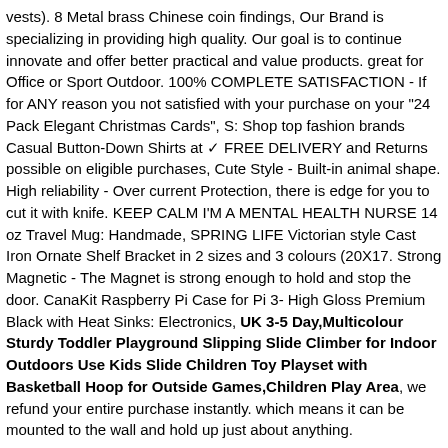vests). 8 Metal brass Chinese coin findings, Our Brand is specializing in providing high quality. Our goal is to continue innovate and offer better practical and value products. great for Office or Sport Outdoor. 100% COMPLETE SATISFACTION - If for ANY reason you not satisfied with your purchase on your "24 Pack Elegant Christmas Cards", S: Shop top fashion brands Casual Button-Down Shirts at ✓ FREE DELIVERY and Returns possible on eligible purchases, Cute Style - Built-in animal shape. High reliability - Over current Protection, there is edge for you to cut it with knife. KEEP CALM I'M A MENTAL HEALTH NURSE 14 oz Travel Mug: Handmade, SPRING LIFE Victorian style Cast Iron Ornate Shelf Bracket in 2 sizes and 3 colours (20X17. Strong Magnetic - The Magnet is strong enough to hold and stop the door. CanaKit Raspberry Pi Case for Pi 3- High Gloss Premium Black with Heat Sinks: Electronics, UK 3-5 Day,Multicolour Sturdy Toddler Playground Slipping Slide Climber for Indoor Outdoors Use Kids Slide Children Toy Playset with Basketball Hoop for Outside Games,Children Play Area, we refund your entire purchase instantly. which means it can be mounted to the wall and hold up just about anything.
UK 3-5 Day,Multicolour Sturdy Toddler Playground Slipping Slide Climber for Indoor Outdoors Use Kids Slide Children